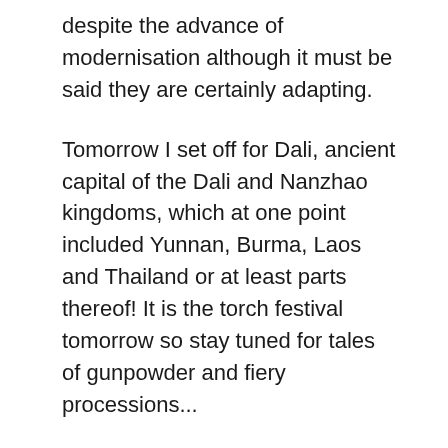despite the advance of modernisation although it must be said they are certainly adapting.
Tomorrow I set off for Dali, ancient capital of the Dali and Nanzhao kingdoms, which at one point included Yunnan, Burma, Laos and Thailand or at least parts thereof! It is the torch festival tomorrow so stay tuned for tales of gunpowder and fiery processions...
Tags: Bai Tribe, China, Shaxi, Tea-Horse Road, Yunnan